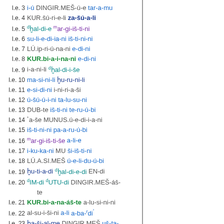l.e. 3   i-ú DINGIR.MEŠ-ú-e tar-a-mu
l.e. 4   KUR.šú-ri-e-li za-šú-a-li
l.e. 5   d[h with dot]al-di-e mar-gi-iš-ti-ni
l.e. 6   su-li-e-di-ia-ni iš-ti-ni-ni
l.e. 7   LÚ.ip-ri-ú-na-ni e-di-ni
l.e. 8   KUR.bi-a-i-na-ni e-di-ni
l.e. 9   i-a-ni-li dḫal-di-i-še
l.e. 10  ma-si-ni-li ḫu-ru-ni-li
l.e. 11  e-si-di-ni i-ni-ri-a-ši
l.e. 12  ú-šú-ú-i-ni ta-lu-su-ni
l.e. 13  DUB-te iš-ti-ni te-ru-ú-bi
l.e. 14  ʾa-še MUNUS.ú-e-di-i-a-ni
l.e. 15  iš-ti-ni-ni pa-a-ru-ú-bi
l.e. 16  mar-gi-iš-ti-še a-li-e
l.e. 17  i-ku-ka-ni MU ši-iš-ti-ni
l.e. 18  LÚ.A.SI.MEŠ ú-e-li-du-ú-bi
l.e. 19  ḫu-ti-a-di dḫal-di-e-di EN-di
l.e. 20  dIM-di dUTU-di DINGIR.MEŠ-áš-te
l.e. 21  KUR.bi-a-na-áš-te a-lu-si-ni-ni
l.e. 22  al-su-i-ši-ni a-li a-ba-rdi'
l.e. 23  ḫa-ši-al-me DINGIR.MEŠ uš-ta-[di]